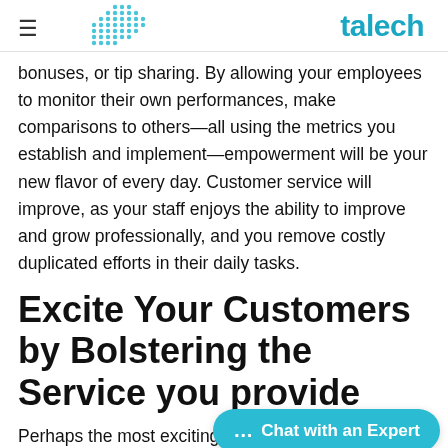talech
bonuses, or tip sharing. By allowing your employees to monitor their own performances, make comparisons to others—all using the metrics you establish and implement—empowerment will be your new flavor of every day. Customer service will improve, as your staff enjoys the ability to improve and grow professionally, and you remove costly duplicated efforts in their daily tasks.
Excite Your Customers by Bolstering the Service you provide
Perhaps the most exciting of the options presented